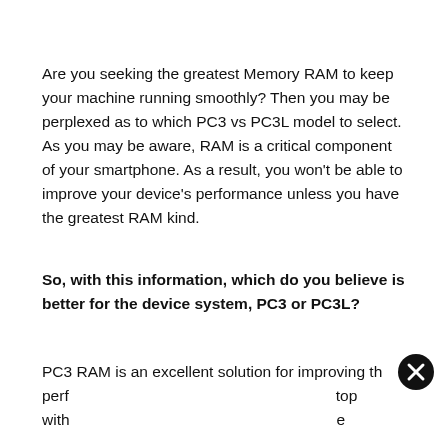Are you seeking the greatest Memory RAM to keep your machine running smoothly? Then you may be perplexed as to which PC3 vs PC3L model to select. As you may be aware, RAM is a critical component of your smartphone. As a result, you won't be able to improve your device's performance unless you have the greatest RAM kind.
So, with this information, which do you believe is better for the device system, PC3 or PC3L?
PC3 RAM is an excellent solution for improving the performance of top with e